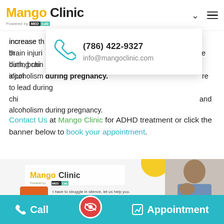Mango Clinic — Powered by MED Lab
increase th... ature birth, brain injuri... ure to lead during chi... and alcoholism during pregnancy.
[Figure (infographic): Contact popup showing phone icon, phone number (786) 422-9327 and email info@mangoclinic.com]
Contact Us at Mango Clinic for ADHD treatment or click the banner below to book your appointment.
[Figure (screenshot): Mango Clinic banner showing ADHD Evaluation and Treatment with a person stressed at desk]
Call | (eye icon) | Appointment